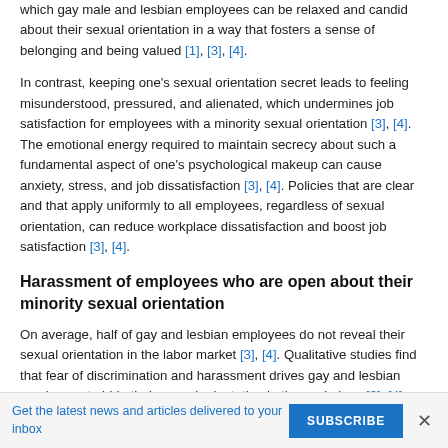which gay male and lesbian employees can be relaxed and candid about their sexual orientation in a way that fosters a sense of belonging and being valued [1], [3], [4].
In contrast, keeping one's sexual orientation secret leads to feeling misunderstood, pressured, and alienated, which undermines job satisfaction for employees with a minority sexual orientation [3], [4]. The emotional energy required to maintain secrecy about such a fundamental aspect of one's psychological makeup can cause anxiety, stress, and job dissatisfaction [3], [4]. Policies that are clear and that apply uniformly to all employees, regardless of sexual orientation, can reduce workplace dissatisfaction and boost job satisfaction [3], [4].
Harassment of employees who are open about their minority sexual orientation
On average, half of gay and lesbian employees do not reveal their sexual orientation in the labor market [3], [4]. Qualitative studies find that fear of discrimination and harassment drives gay and lesbian employees to hide their sexual orientation in the workplace [3], [4]. Gay and lesbian employees who hide their
Get the latest news and articles delivered to your inbox  SUBSCRIBE ×